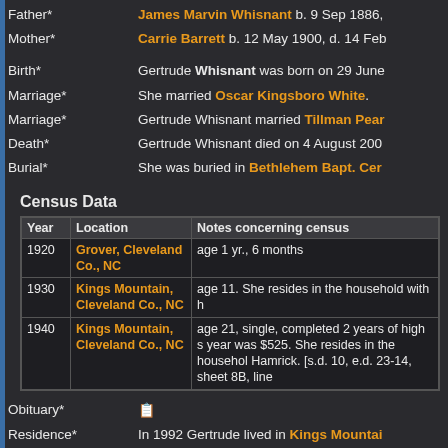Father*   James Marvin Whisnant b. 9 Sep 1886,
Mother*   Carrie Barrett b. 12 May 1900, d. 14 Feb
Birth*   Gertrude Whisnant was born on 29 June
Marriage*   She married Oscar Kingsboro White.
Marriage*   Gertrude Whisnant married Tillman Pear
Death*   Gertrude Whisnant died on 4 August 200
Burial*   She was buried in Bethlehem Bapt. Cer
Census Data
| Year | Location | Notes concerning census |
| --- | --- | --- |
| 1920 | Grover, Cleveland Co., NC | age 1 yr., 6 months |
| 1930 | Kings Mountain, Cleveland Co., NC | age 11. She resides in the household with h |
| 1940 | Kings Mountain, Cleveland Co., NC | age 21, single, completed 2 years of high s year was $525. She resides in the househol Hamrick. [s.d. 10, e.d. 23-14, sheet 8B, line |
Obituary*   [document icon]
Residence*   In 1992 Gertrude lived in Kings Mountai
Family 1   Oscar Kingsboro White b. 22 Septemba